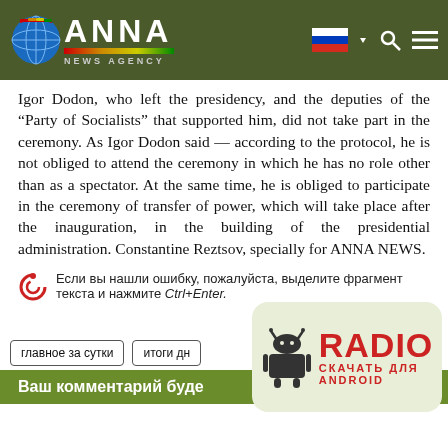ANNA NEWS AGENCY
Igor Dodon, who left the presidency, and the deputies of the "Party of Socialists" that supported him, did not take part in the ceremony. As Igor Dodon said — according to the protocol, he is not obliged to attend the ceremony in which he has no role other than as a spectator. At the same time, he is obliged to participate in the ceremony of transfer of power, which will take place after the inauguration, in the building of the presidential administration. Constantine Reztsov, specially for ANNA NEWS.
Если вы нашли ошибку, пожалуйста, выделите фрагмент текста и нажмите Ctrl+Enter.
главное за сутки
итоги дн
Ваш комментарий буде
[Figure (logo): RADIO СКАЧАТЬ ДЛЯ ANDROID widget with Android robot icon]